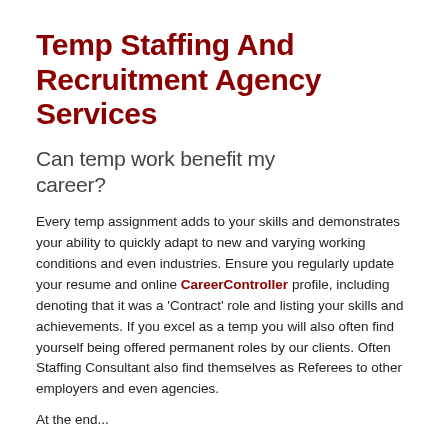Temp Staffing And Recruitment Agency Services
Can temp work benefit my career?
Every temp assignment adds to your skills and demonstrates your ability to quickly adapt to new and varying working conditions and even industries. Ensure you regularly update your resume and online CareerController profile, including denoting that it was a 'Contract' role and listing your skills and achievements. If you excel as a temp you will also often find yourself being offered permanent roles by our clients. Often Staffing Consultant also find themselves as Referees to other employers and even agencies.
At the end...